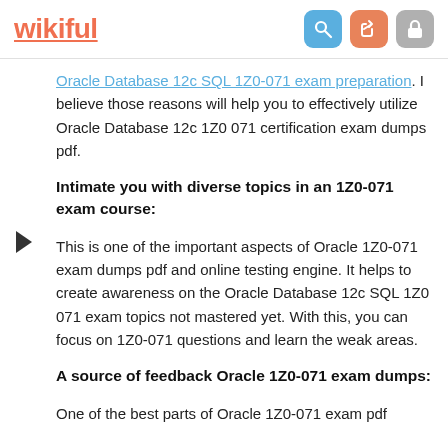wikiful
Oracle Database 12c SQL 1Z0-071 exam preparation. I believe those reasons will help you to effectively utilize Oracle Database 12c 1Z0 071 certification exam dumps pdf.
Intimate you with diverse topics in an 1Z0-071 exam course:
This is one of the important aspects of Oracle 1Z0-071 exam dumps pdf and online testing engine. It helps to create awareness on the Oracle Database 12c SQL 1Z0 071 exam topics not mastered yet. With this, you can focus on 1Z0-071 questions and learn the weak areas.
A source of feedback Oracle 1Z0-071 exam dumps:
One of the best parts of Oracle 1Z0-071 exam pdf